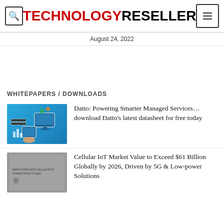TECHNOLOGY RESELLER
August 24, 2022
WHITEPAPERS / DOWNLOADS
[Figure (illustration): Datto branded illustration showing managed services devices including monitor, tablet, server in blue tones]
Datto: Powering Smarter Managed Services… download Datto's latest datasheet for free today
[Figure (photo): Cellular IoT market whitepaper cover image, grayscale]
Cellular IoT Market Value to Exceed $61 Billion Globally by 2026, Driven by 5G & Low-power Solutions